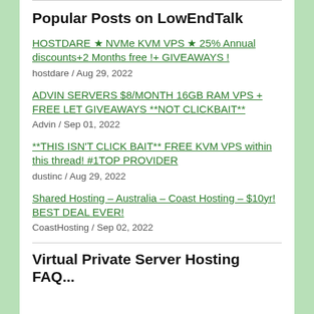Popular Posts on LowEndTalk
HOSTDARE ★ NVMe KVM VPS ★ 25% Annual discounts+2 Months free !+ GIVEAWAYS !
hostdare / Aug 29, 2022
ADVIN SERVERS $8/MONTH 16GB RAM VPS + FREE LET GIVEAWAYS **NOT CLICKBAIT**
Advin / Sep 01, 2022
**THIS ISN'T CLICK BAIT** FREE KVM VPS within this thread! #1TOP PROVIDER
dustinc / Aug 29, 2022
Shared Hosting – Australia – Coast Hosting – $10yr! BEST DEAL EVER!
CoastHosting / Sep 02, 2022
Virtual Private Server Hosting FAQ...